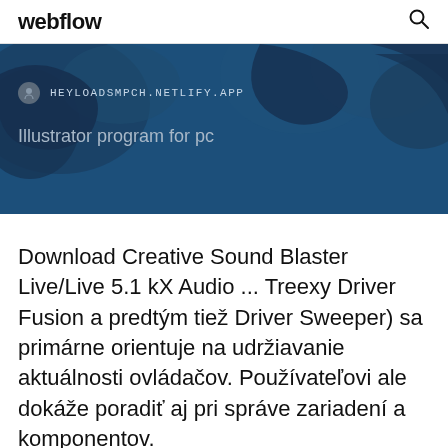webflow
[Figure (screenshot): Website banner with dark blue background showing a map graphic, a favicon, the URL HEYLOADSMPCH.NETLIFY.APP, and the subtitle text 'Illustrator program for pc']
Download Creative Sound Blaster Live/Live 5.1 kX Audio ... Treexy Driver Fusion a predtým tiež Driver Sweeper) sa primárne orientuje na udržiavanie aktuálnosti ovládačov. Používateľovi ale dokáže poradiť aj pri správe zariadení a komponentov.